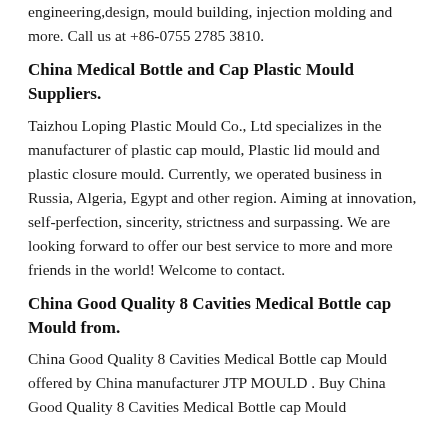engineering,design, mould building, injection molding and more. Call us at +86-0755 2785 3810.
China Medical Bottle and Cap Plastic Mould Suppliers.
Taizhou Loping Plastic Mould Co., Ltd specializes in the manufacturer of plastic cap mould, Plastic lid mould and plastic closure mould. Currently, we operated business in Russia, Algeria, Egypt and other region. Aiming at innovation, self-perfection, sincerity, strictness and surpassing. We are looking forward to offer our best service to more and more friends in the world! Welcome to contact.
China Good Quality 8 Cavities Medical Bottle cap Mould from.
China Good Quality 8 Cavities Medical Bottle cap Mould offered by China manufacturer JTP MOULD . Buy China Good Quality 8 Cavities Medical Bottle cap Mould